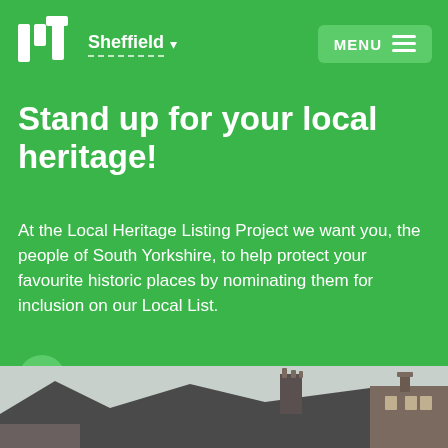nt Sheffield MENU
Stand up for your local heritage!
At the Local Heritage Listing Project we want you, the people of South Yorkshire, to help protect your favourite historic places by nominating them for inclusion on our Local List.
by Sarah Cattell
4 DECEMBER 2021
[Figure (photo): Photograph of historic rooftops and chimneys under a grey sky, brick buildings in South Yorkshire]